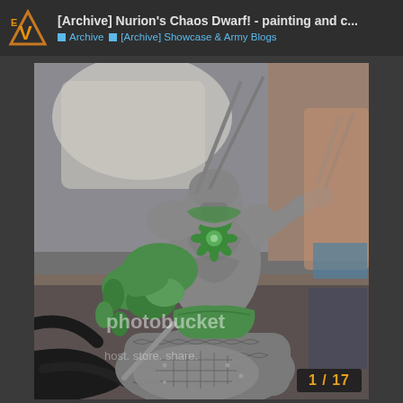[Archive] Nurion's Chaos Dwarf! - painting and c... | Archive | [Archive] Showcase & Army Blogs
[Figure (photo): A gray-primed fantasy miniature figure of a large muscular Chaos Dwarf creature with green sculpting putty detailing on arms and torso, holding spears, mounted on a scaly beast. Photobucket watermark visible. Taken on a hobby desk with paints and materials in background.]
1 / 17